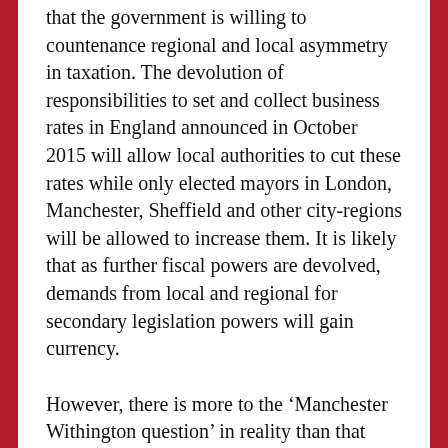that the government is willing to countenance regional and local asymmetry in taxation. The devolution of responsibilities to set and collect business rates in England announced in October 2015 will allow local authorities to cut these rates while only elected mayors in London, Manchester, Sheffield and other city-regions will be allowed to increase them. It is likely that as further fiscal powers are devolved, demands from local and regional for secondary legislation powers will gain currency.
However, there is more to the ‘Manchester Withington question’ in reality than that issue of parliamentary principle. It is likely the ‘Manchester Withington question’ will encourage deterioration of relations between MPs within the House of Commons as asymmetries in the remit and influence of English elected-representatives intensify. Resentments will coalesce on questions